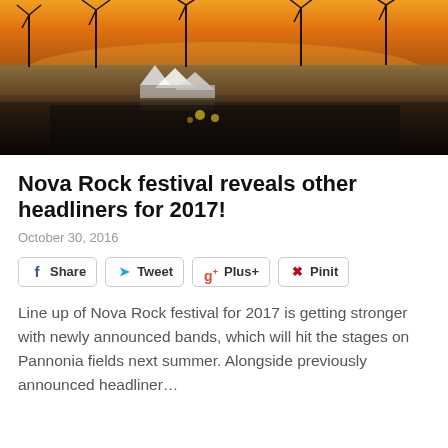[Figure (photo): Aerial view of Nova Rock festival grounds at sunset, showing wind turbines in the background, festival stages, tents, and large crowds on Pannonia fields.]
Nova Rock festival reveals other headliners for 2017!
October 30, 2016
Share  Tweet  Plus+  Pinit
Line up of Nova Rock festival for 2017 is getting stronger with newly announced bands, which will hit the stages on Pannonia fields next summer. Alongside previously announced headliner...